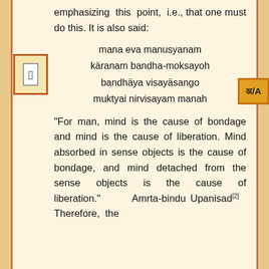emphasizing this point, i.e., that one must do this. It is also said:
mana eva manusyanam käranam bandha-moksayoh bandhäya visayäsango muktyai nirvisayam manah
“For man, mind is the cause of bondage and mind is the cause of liberation. Mind absorbed in sense objects is the cause of bondage, and mind detached from the sense objects is the cause of liberation.” Amrta-bindu Upanisad[2] Therefore, the